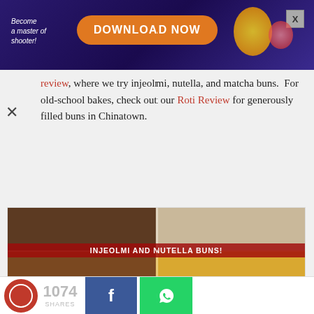[Figure (screenshot): Advertisement banner: dark purple/blue background with 'Become a master of shooter!' text on left, orange 'DOWNLOAD NOW' button in center, colorful game imagery on right, with X close button top right.]
review, where we try injeolmi, nutella, and matcha buns.  For old-school bakes, check out our Roti Review for generously filled buns in Chinatown.
[Figure (photo): Four-panel food photo collage showing Korean buns — injeolmi and nutella buns. Center banner reads 'INJEOLMI AND NUTELLA BUNS!' in bold white text on red background.]
Korfe: New Korean Bakery With Injeolmi
[Figure (screenshot): Bottom share bar showing Eatbook circular logo icon, share count '1074 SHARES', Facebook share button (blue), and WhatsApp share button (green).]